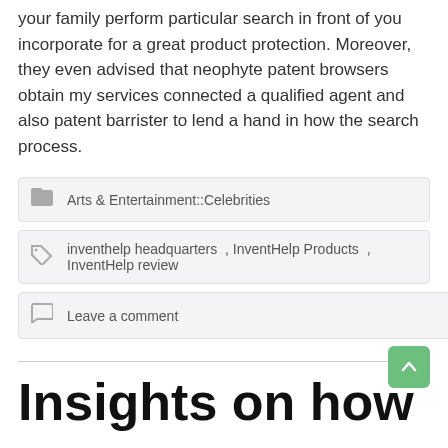your family perform particular search in front of you incorporate for a great product protection. Moreover, they even advised that neophyte patent browsers obtain my services connected a qualified agent and also patent barrister to lend a hand in how the search process.
Arts & Entertainment::Celebrities
inventhelp headquarters , InventHelp Products , InventHelp review
Leave a comment
Insights on how